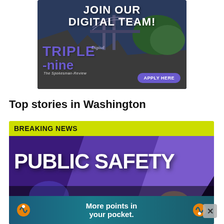[Figure (illustration): Advertisement banner for Triple-Nine Digital team from The Spokesman-Review, showing a bridge over a river with text 'JOIN OUR DIGITAL TEAM!' and 'TRIPLE -nine Digital' logo, with 'APPLY HERE' button]
Top stories in Washington
[Figure (photo): Breaking news card with yellow 'BREAKING NEWS' bar, large 'PUBLIC SAFETY' text overlay on a dramatic purple/blue background image]
[Figure (illustration): Bottom advertisement overlay with teal background, circular orange icons, and text 'More points in your pocket.']